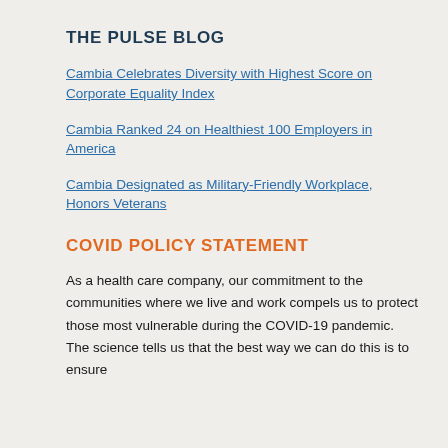THE PULSE BLOG
Cambia Celebrates Diversity with Highest Score on Corporate Equality Index
Cambia Ranked 24 on Healthiest 100 Employers in America
Cambia Designated as Military-Friendly Workplace, Honors Veterans
COVID POLICY STATEMENT
As a health care company, our commitment to the communities where we live and work compels us to protect those most vulnerable during the COVID-19 pandemic. The science tells us that the best way we can do this is to ensure